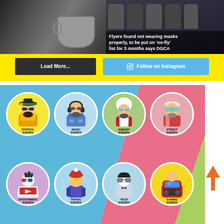[Figure (screenshot): Top section with yellow background containing two news images side by side - left shows cooking pot in dark background, right shows people wearing masks with headline overlay. Below images are two buttons: 'Load More...' (dark) and 'Follow on Instagram' (blue).]
Flyers found not wearing masks properly, to be put on 'no-fly' list for 3 months says DGCA
Load More...
Follow on Instagram
[Figure (illustration): Colorful infographic showing 8 cartoon 'Sherpa' character icons arranged in 2 rows of 4, each in a circle on a colored background (blue, pink, green). Characters are: Festival Sherpa (yellow circle), Music Sherpa (blue circle), Hungry Sherpa (green circle), Street Sherpa (pink circle), Entertainment Sherpa (purple circle), Travel Sherpa (light blue circle), Tech Sherpa (light blue circle), Gaming Sherpa (yellow circle). An orange up arrow appears to the right.]